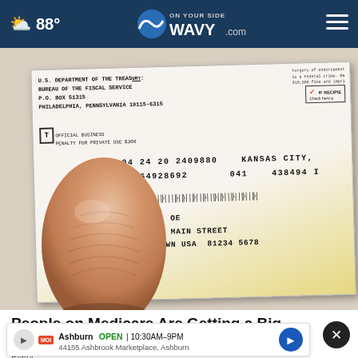88° | WAVY.com | ON YOUR SIDE
[Figure (photo): A hand holding a U.S. Department of the Treasury, Bureau of the Fiscal Service check from P.O. Box 51315, Philadelphia, Pennsylvania 19115-6315. The check shows routing numbers 04 24 20 2409880, Kansas City, 08464928692, 041, 438494, and is addressed to John OE, 1234 Main Street, Anytown USA 81234 5678.]
People on Medicare Are Getting a Big Surprise This Month
Every...
Ashburn OPEN | 10:30AM–9PM | 44155 Ashbrook Marketplace, Ashburn